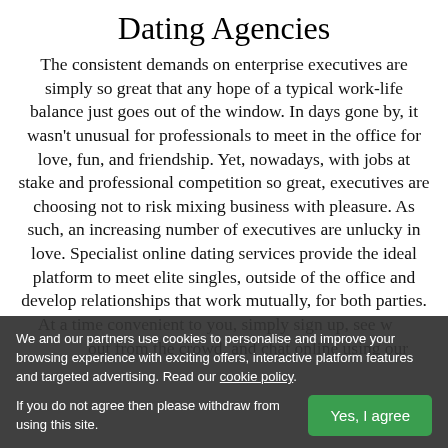Dating Agencies
The consistent demands on enterprise executives are simply so great that any hope of a typical work-life balance just goes out of the window. In days gone by, it wasn't unusual for professionals to meet in the office for love, fun, and friendship. Yet, nowadays, with jobs at stake and professional competition so great, executives are choosing not to risk mixing business with pleasure. As such, an increasing number of executives are unlucky in love. Specialist online dating services provide the ideal platform to meet elite singles, outside of the office and develop relationships that work mutually, for both parties. At a time convenient to you, simply sign up, see who stands out from the crowd, and chat online using our
We and our partners use cookies to personalise and improve your browsing experience with exciting offers, interactive platform features and targeted advertising. Read our cookie policy.
If you do not agree then please withdraw from using this site.